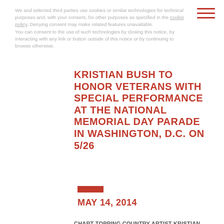We and selected third parties use cookies or similar technologies for technical purposes and, with your consent, for other purposes as specified in the cookie policy. Denying consent may make related features unavailable. You can consent to the use of such technologies by closing this notice, by interacting with any link or button outside of this notice or by continuing to browse otherwise.
KRISTIAN BUSH TO HONOR VETERANS WITH SPECIAL PERFORMANCE AT THE NATIONAL MEMORIAL DAY PARADE IN WASHINGTON, D.C. ON 5/26
MAY 14, 2014
CHART-TOPPING COUNTRY ARTIST KRISTIAN BUSH TO HONOR VETERANS WITH SPECIAL PERFORMANCE AT THE NATIONAL MEMORIAL DAY PARADE IN WASHINGTON, D.C. ON 5/26